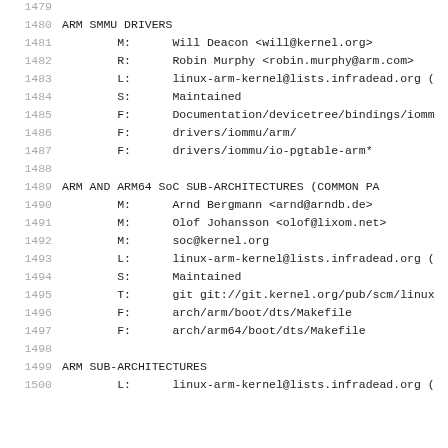1479
1480  ARM SMMU DRIVERS
1481  M:  Will Deacon <will@kernel.org>
1482  R:  Robin Murphy <robin.murphy@arm.com>
1483  L:  linux-arm-kernel@lists.infradead.org (
1484  S:  Maintained
1485  F:  Documentation/devicetree/bindings/iomm
1486  F:  drivers/iommu/arm/
1487  F:  drivers/iommu/io-pgtable-arm*
1488
1489  ARM AND ARM64 SoC SUB-ARCHITECTURES (COMMON PA
1490  M:  Arnd Bergmann <arnd@arndb.de>
1491  M:  Olof Johansson <olof@lixom.net>
1492  M:  soc@kernel.org
1493  L:  linux-arm-kernel@lists.infradead.org (
1494  S:  Maintained
1495  T:  git git://git.kernel.org/pub/scm/linux
1496  F:  arch/arm/boot/dts/Makefile
1497  F:  arch/arm64/boot/dts/Makefile
1498
1499  ARM SUB-ARCHITECTURES
1500  L:  linux-arm-kernel@lists.infradead.org (